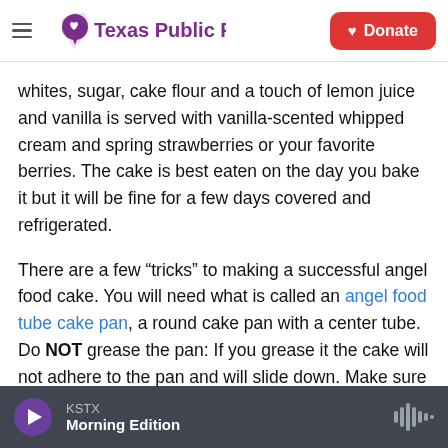Texas Public Radio | Donate
whites, sugar, cake flour and a touch of lemon juice and vanilla is served with vanilla-scented whipped cream and spring strawberries or your favorite berries. The cake is best eaten on the day you bake it but it will be fine for a few days covered and refrigerated.
There are a few “tricks” to making a successful angel food cake. You will need what is called an angel food tube cake pan, a round cake pan with a center tube. Do NOT grease the pan: If you grease it the cake will not adhere to the pan and will slide down. Make sure your egg whites are at room
KSTX
Morning Edition